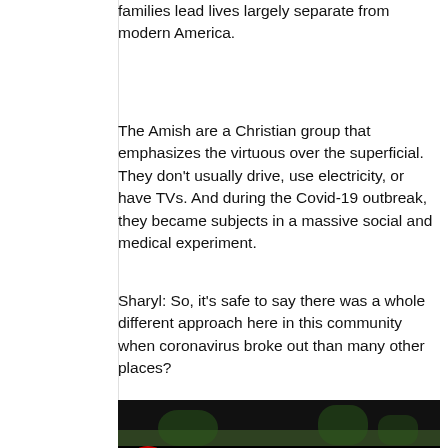families lead lives largely separate from modern America.
The Amish are a Christian group that emphasizes the virtuous over the superficial. They don't usually drive, use electricity, or have TVs. And during the Covid-19 outbreak, they became subjects in a massive social and medical experiment.
Sharyl: So, it's safe to say there was a whole different approach here in this community when coronavirus broke out than many other places?
[Figure (screenshot): Video thumbnail for 'Amish Covid | Full Measure' with Full Measure logo on a dark background]